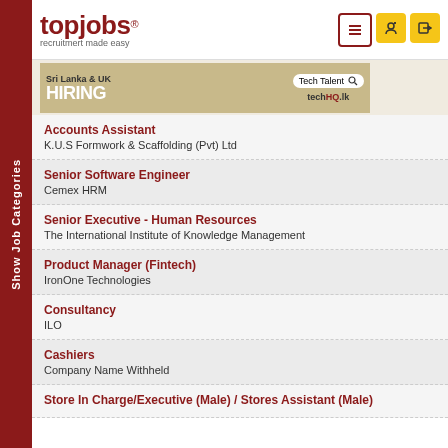[Figure (logo): topjobs logo with tagline 'recruitmert made easy']
[Figure (infographic): Advertisement banner: Sri Lanka & UK HIRING Tech Talent techHQ.lk]
Accounts Assistant
K.U.S Formwork & Scaffolding (Pvt) Ltd
Senior Software Engineer
Cemex HRM
Senior Executive - Human Resources
The International Institute of Knowledge Management
Product Manager (Fintech)
IronOne Technologies
Consultancy
ILO
Cashiers
Company Name Withheld
Store In Charge/Executive (Male) / Stores Assistant (Male)